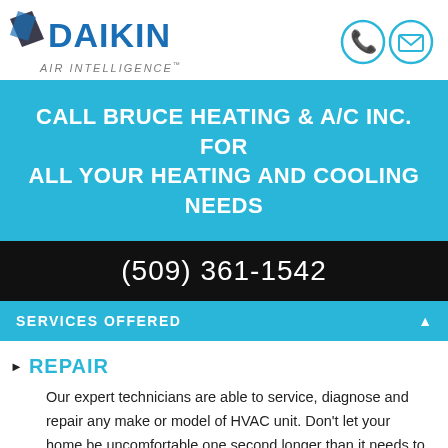[Figure (logo): Daikin Air Intelligence logo with phone and email contact icons]
CALL BRUCE HEATING & A/C INC. FOR ALL YOUR HEATING AND COOLING NEEDS
(509) 361-1542
SERVICES OFFERED
REPAIR
Our expert technicians are able to service, diagnose and repair any make or model of HVAC unit. Don't let your home be uncomfortable one second longer than it needs to be. Call us today.